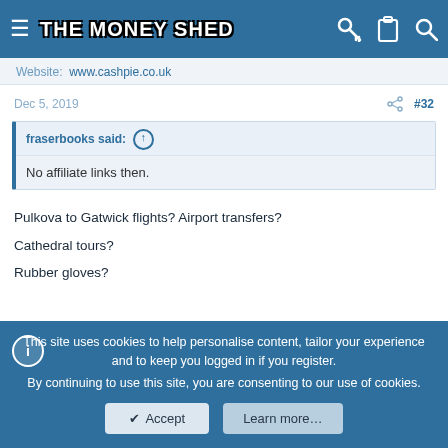THE MONEY SHED
Website: www.cashpie.co.uk
Dec 5, 2019  #32
fraserbooks said: ↑
No affiliate links then.
Pulkova to Gatwick flights? Airport transfers?
Cathedral tours?
Rubber gloves?
This site uses cookies to help personalise content, tailor your experience and to keep you logged in if you register.
By continuing to use this site, you are consenting to our use of cookies.